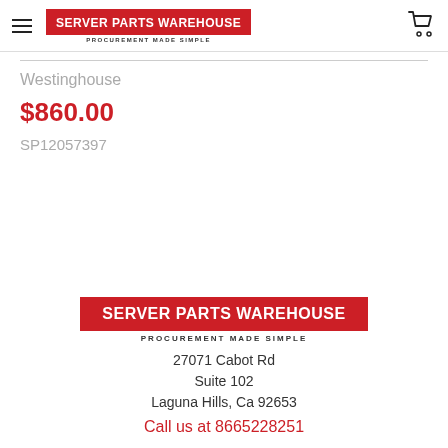SERVER PARTS WAREHOUSE — PROCUREMENT MADE SIMPLE
Westinghouse
$860.00
SP12057397
[Figure (logo): Server Parts Warehouse logo with red background and white text, tagline: PROCUREMENT MADE SIMPLE]
27071 Cabot Rd
Suite 102
Laguna Hills, Ca 92653
Call us at 8665228251